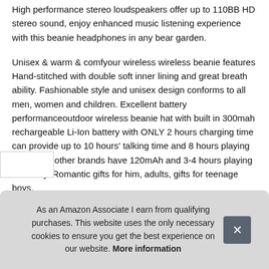High performance stereo loudspeakers offer up to 110BB HD stereo sound, enjoy enhanced music listening experience with this beanie headphones in any bear garden.
Unisex & warm & comfyour wireless wireless beanie features Hand-stitched with double soft inner lining and great breath ability. Fashionable style and unisex design conforms to all men, women and children. Excellent battery performanceoutdoor wireless beanie hat with built in 300mah rechargeable Li-Ion battery with ONLY 2 hours charging time can provide up to 10 hours' talking time and 8 hours playing time while other brands have 120mAh and 3-4 hours playing time only. Romantic gifts for him, adults, gifts for teenage boys.
As an Amazon Associate I earn from qualifying purchases. This website uses the only necessary cookies to ensure you get the best experience on our website. More information